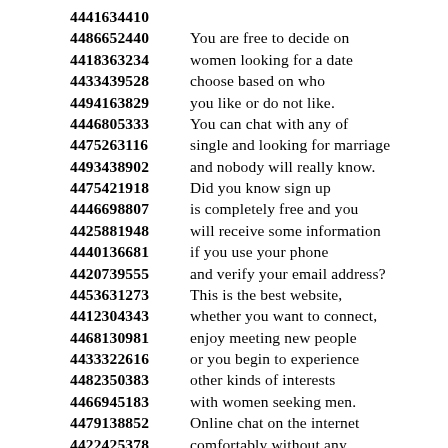4441634410
4486652440 You are free to decide on
4418363234 women looking for a date
4433439528 choose based on who
4494163829 you like or do not like.
4446805333 You can chat with any of
4475263116 single and looking for marriage
4493438902 and nobody will really know.
4475421918 Did you know sign up
4446698807 is completely free and you
4425881948 will receive some information
4440136681 if you use your phone
4420739555 and verify your email address?
4453631273 This is the best website,
4412304343 whether you want to connect,
4468130981 enjoy meeting new people
4433322616 or you begin to experience
4482350383 other kinds of interests
4466945183 with women seeking men.
4479138852 Online chat on the internet
4422425378 comfortably without any
4439704754 fear of the future and
4414300750 prejudice or ignorance
4412890900 because everyone is up to
4461112928 have fun and entertainment